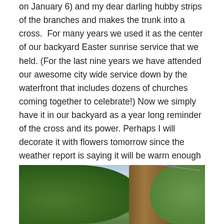on January 6) and my dear darling hubby strips of the branches and makes the trunk into a cross.  For many years we used it as the center of our backyard Easter sunrise service that we held. (For the last nine years we have attended our awesome city wide service down by the waterfront that includes dozens of churches coming together to celebrate!) Now we simply have it in our backyard as a year long reminder of the cross and its power. Perhaps I will decorate it with flowers tomorrow since the weather report is saying it will be warm enough to have our Easter brunch outside!
[Figure (photo): Photograph of a large tree trunk in a backyard with green foliage on the left side and a light blue sky visible on the right side. A wire or cable is visible in the upper right portion of the image.]